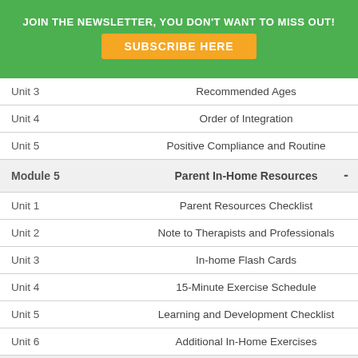JOIN THE NEWSLETTER, YOU DON'T WANT TO MISS OUT!
SUBSCRIBE HERE
| Unit/Module | Topic |
| --- | --- |
| Unit 3 | Recommended Ages |
| Unit 4 | Order of Integration |
| Unit 5 | Positive Compliance and Routine |
| Module 5 | Parent In-Home Resources |
| Unit 1 | Parent Resources Checklist |
| Unit 2 | Note to Therapists and Professionals |
| Unit 3 | In-home Flash Cards |
| Unit 4 | 15-Minute Exercise Schedule |
| Unit 5 | Learning and Development Checklist |
| Unit 6 | Additional In-Home Exercises |
| Module 6 | Testing |
| Unit 1 | Important Note and Checklist |